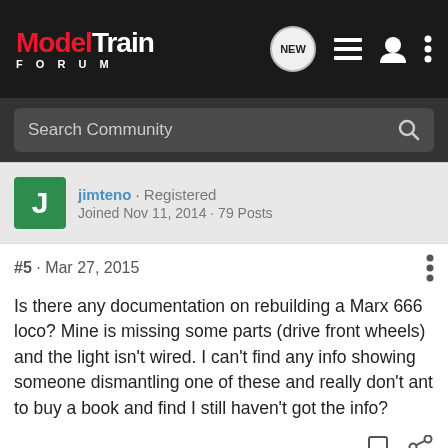ModelTrain FORUM
Search Community
jimteno · Registered · Joined Nov 11, 2014 · 79 Posts
#5 · Mar 27, 2015
Is there any documentation on rebuilding a Marx 666 loco? Mine is missing some parts (drive front wheels) and the light isn't wired. I can't find any info showing someone dismantling one of these and really don't ant to buy a book and find I still haven't got the info?
tjcruiser · Premium Member 🇺🇸 · Joined Jan 10, 2010 · 16,683 Posts